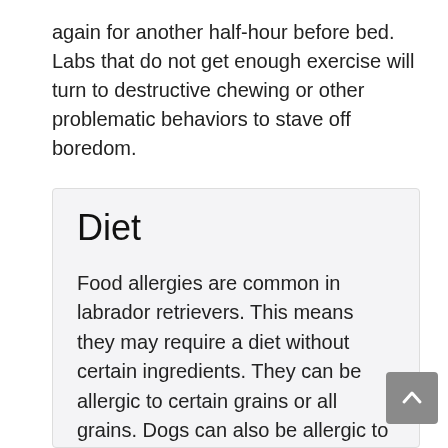again for another half-hour before bed. Labs that do not get enough exercise will turn to destructive chewing or other problematic behaviors to stave off boredom.
Diet
Food allergies are common in labrador retrievers. This means they may require a diet without certain ingredients. They can be allergic to certain grains or all grains. Dogs can also be allergic to the flesh of certain animals.